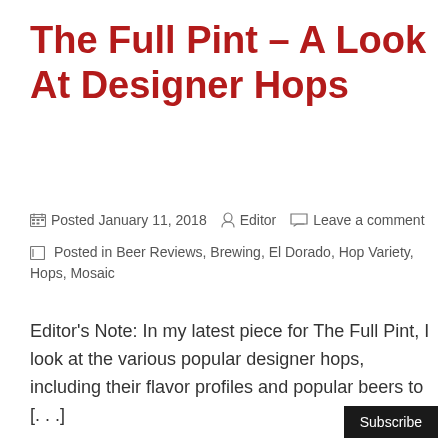The Full Pint – A Look At Designer Hops
Posted January 11, 2018  Editor  Leave a comment
Posted in Beer Reviews, Brewing, El Dorado, Hop Variety, Hops, Mosaic
Editor's Note: In my latest piece for The Full Pint, I look at the various popular designer hops, including their flavor profiles and popular beers to [. . .]
Subscribe